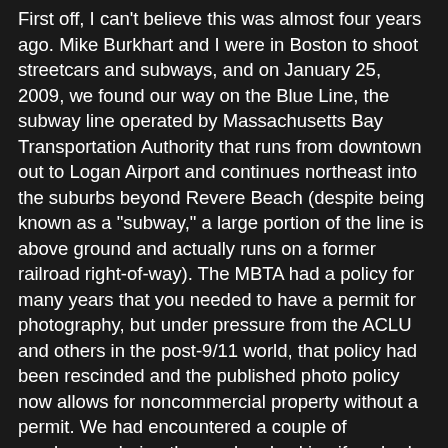First off, I can't believe this was almost four years ago. Mike Burkhart and I were in Boston to shoot streetcars and subways, and on January 25, 2009, we found our way on the Blue Line, the subway line operated by Massachusetts Bay Transportation Authority that runs from downtown out to Logan Airport and continues northeast into the suburbs beyond Revere Beach (despite being known as a "subway," a large portion of the line is above ground and actually runs on a former railroad right-of-way). The MBTA had a policy for many years that you needed to have a permit for photography, but under pressure from the ACLU and others in the post-9/11 world, that policy had been rescinded and the published photo policy now allows for noncommercial property without a permit. We had encountered a couple of employees during the weekend asking if we had a permit, but when we told them the permit policy had been abolished they left us alone.
We found our way onto the platform at Suffolk Downs on the Blue Line where we were set up for a shot of an inbound train. An outbound train pulled up on the platform next to us, putting the operator's window right next to us. Immediately the operator started giving us a lot of hell about permit it...